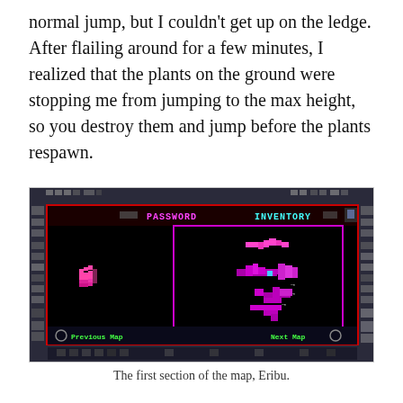normal jump, but I couldn't get up on the ledge. After flailing around for a few minutes, I realized that the plants on the ground were stopping me from jumping to the max height, so you destroy them and jump before the plants respawn.
[Figure (screenshot): A screenshot of a video game showing a map screen with PASSWORD and INVENTORY labels at the top, a black background, pink/magenta pixel art map shapes, the word ERIBU at the bottom center, and Previous Map / Next Map navigation at the bottom.]
The first section of the map, Eribu.